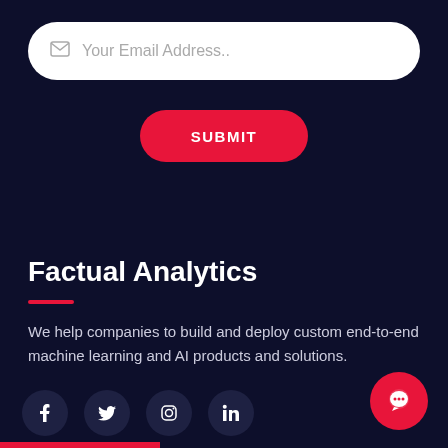Your Email Address..
SUBMIT
Factual Analytics
We help companies to build and deploy custom end-to-end machine learning and AI products and solutions.
[Figure (other): Social media icons: Facebook, Twitter, Instagram, LinkedIn, and a red chat button]